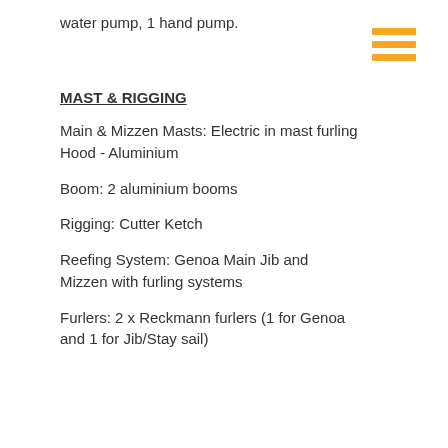water pump, 1 hand pump.
[Figure (other): Hamburger menu icon with three horizontal golden/yellow bars]
MAST & RIGGING
Main & Mizzen Masts: Electric in mast furling Hood - Aluminium
Boom: 2 aluminium booms
Rigging: Cutter Ketch
Reefing System: Genoa Main Jib and Mizzen with furling systems
Furlers: 2 x Reckmann furlers (1 for Genoa and 1 for Jib/Stay sail)